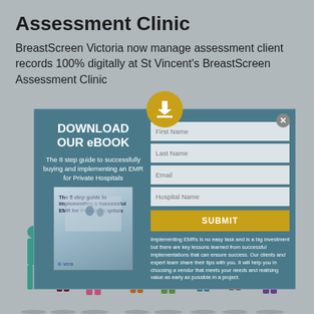Assessment Clinic
BreastScreen Victoria now manage assessment client records 100% digitally at St Vincent's BreastScreen Assessment Clinic
[Figure (screenshot): Popup modal overlay for downloading an eBook titled 'DOWNLOAD OUR eBOOK - The 8 step guide to successfully buying and implementing an EMR for Private Hospitals'. Contains form fields for First Name, Last Name, Email, Hospital Name, and a SUBMIT button. Also includes descriptive text about implementing EMRs.]
[Figure (illustration): Colorful silhouette figures of people standing at the bottom of the page, representing diverse patients/clients in various colors including teal, red, pink, orange, and purple.]